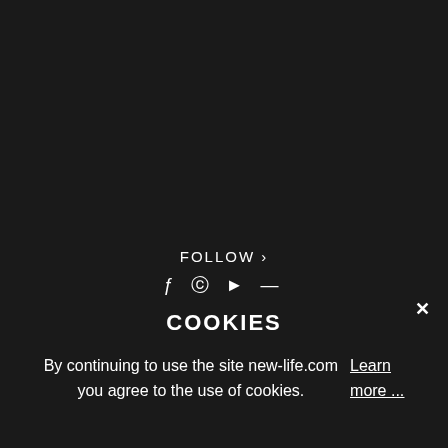FOLLOW ›
[Figure (illustration): Social media icons: Facebook, Instagram, Twitter/arrow, and a line/minus icon]
×
COOKIES
By continuing to use the site new-life.com you agree to the use of cookies. Learn more ...